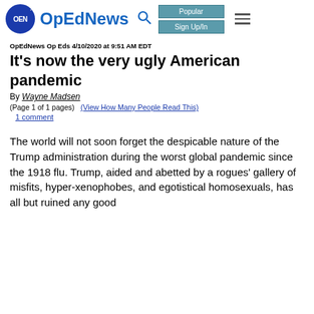OpEdNews
OpEdNews Op Eds 4/10/2020 at 9:51 AM EDT
It's now the very ugly American pandemic
By Wayne Madsen
(Page 1 of 1 pages)  (View How Many People Read This)
1 comment
The world will not soon forget the despicable nature of the Trump administration during the worst global pandemic since the 1918 flu. Trump, aided and abetted by a rogues' gallery of misfits, hyper-xenophobes, and egotistical homosexuals, has all but ruined any good